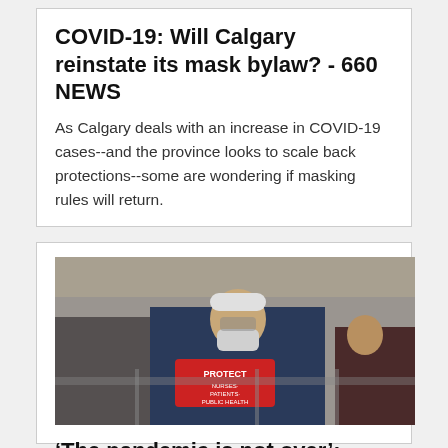COVID-19: Will Calgary reinstate its mask bylaw? - 660 NEWS
As Calgary deals with an increase in COVID-19 cases--and the province looks to scale back protections--some are wondering if masking rules will return.
[Figure (photo): A person wearing a face mask and holding a red sign that reads 'PROTECT PUBLIC HEALTH', standing outdoors with a crowd in the background.]
‘The pandemic is not over’: Bring back universal face masks, the nation’s largest nurses union tells CBC